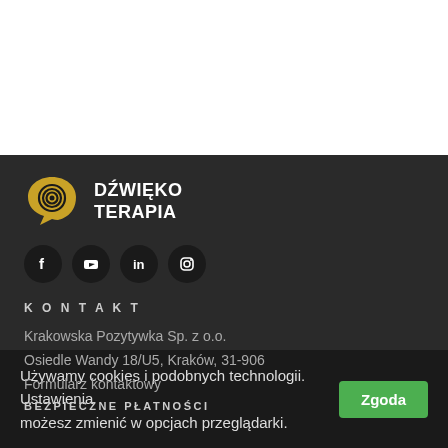[Figure (logo): Dźwięko Terapia logo — golden spiral speech bubble icon with white text DŹWIĘKO TERAPIA on dark background]
[Figure (infographic): Social media icons: Facebook, YouTube, LinkedIn, Instagram — circular dark buttons]
KONTAKT
Krakowska Pozytywka Sp. z o.o.
Osiedle Wandy 18/U5, Kraków, 31-906
Formularz kontaktowy
BEZPIECZNE PŁATNOŚCI
Używamy cookies i podobnych technologii. Ustawienia możesz zmienić w opcjach przeglądarki.